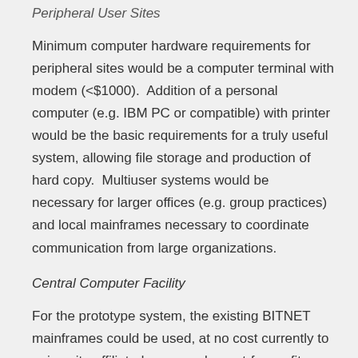Peripheral User Sites
Minimum computer hardware requirements for peripheral sites would be a computer terminal with modem (<$1000).  Addition of a personal computer (e.g. IBM PC or compatible) with printer would be the basic requirements for a truly useful system, allowing file storage and production of hard copy.  Multiuser systems would be necessary for larger offices (e.g. group practices) and local mainframes necessary to coordinate communication from large organizations.
Central Computer Facility
For the prototype system, the existing BITNET mainframes could be used, at no cost currently to university-affiliated personnel or not-for-profit community organizations.  In addition, for-profit agencies may get accounts for a nominal fee ($500-$1000/year) plus usage